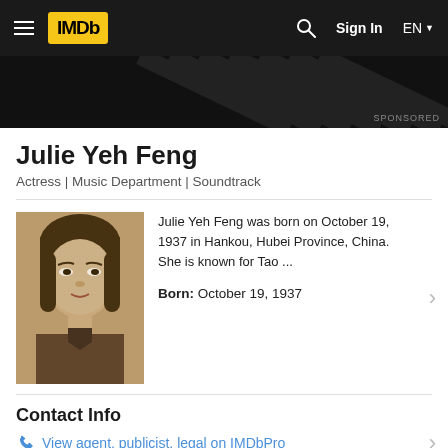IMDb  Sign In  EN
[Figure (screenshot): Dark banner advertisement area with diagonal stripe texture and SPONSORED label]
Julie Yeh Feng
Actress | Music Department | Soundtrack
[Figure (photo): Sepia-toned vintage portrait photo of Julie Yeh Feng, a young Asian woman with short dark hair]
Julie Yeh Feng was born on October 19, 1937 in Hankou, Hubei Province, China. She is known for Tao ...
Born: October 19, 1937
Contact Info
View agent, publicist, legal on IMDbPro